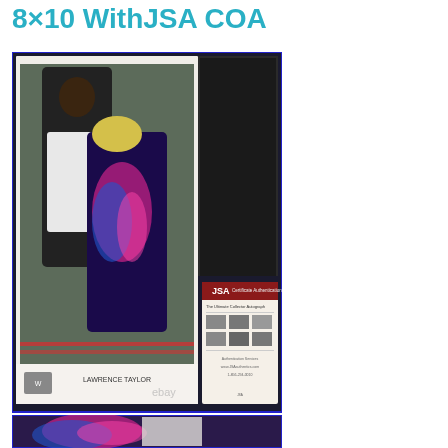8×10 WithJSA COA
[Figure (photo): Product listing image showing a signed WWF Lawrence Taylor 8x10 photo in a black folder/holder, alongside a JSA Certificate of Authenticity card. The signed photo shows two wrestlers/figures in a wrestling ring. An eBay watermark is visible. A partial close-up of the photo is shown below.]